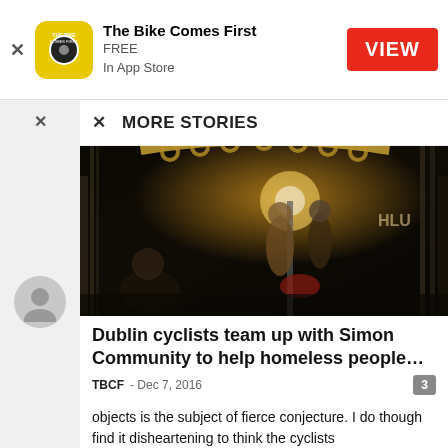The Bike Comes First
FREE
In App Store
VIEW
MORE STORIES
[Figure (photo): Night-time photo on a bridge with people walking and a person sitting on the ground, warm artificial lighting, decorative arch overhead]
Dublin cyclists team up with Simon Community to help homeless people…
TBCF  -  Dec 7, 2016
objects is the subject of fierce conjecture. I do though find it disheartening to think the cyclists